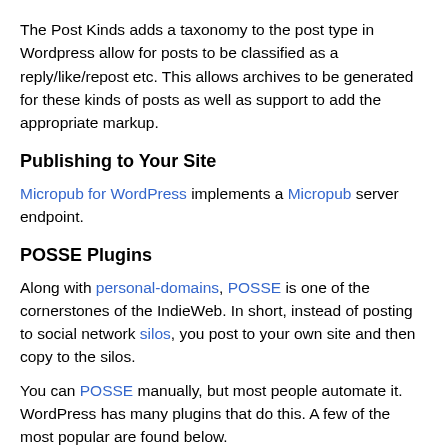The Post Kinds adds a taxonomy to the post type in Wordpress allow for posts to be classified as a reply/like/repost etc. This allows archives to be generated for these kinds of posts as well as support to add the appropriate markup.
Publishing to Your Site
Micropub for WordPress implements a Micropub server endpoint.
POSSE Plugins
Along with personal-domains, POSSE is one of the cornerstones of the IndieWeb. In short, instead of posting to social network silos, you post to your own site and then copy to the silos.
You can POSSE manually, but most people automate it. WordPress has many plugins that do this. A few of the most popular are found below.
Multi silo plugins
These plugins have the ability to target multiple silos simultaneously: